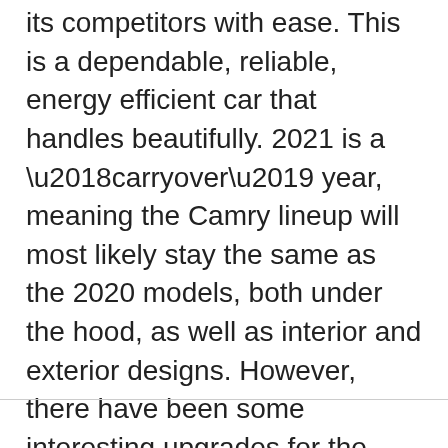its competitors with ease. This is a dependable, reliable, energy efficient car that handles beautifully. 2021 is a ‘carryover’ year, meaning the Camry lineup will most likely stay the same as the 2020 models, both under the hood, as well as interior and exterior designs. However, there have been some interesting upgrades for the 2021 models. .